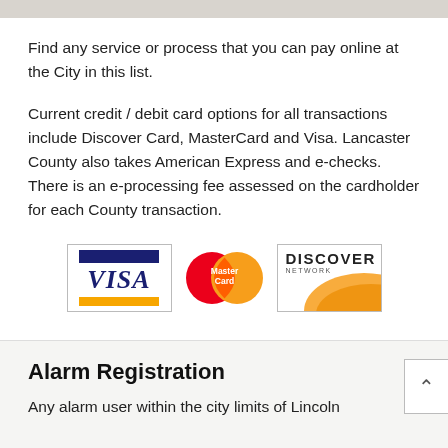Find any service or process that you can pay online at the City in this list.
Current credit / debit card options for all transactions include Discover Card, MasterCard and Visa. Lancaster County also takes American Express and e-checks. There is an e-processing fee assessed on the cardholder for each County transaction.
[Figure (logo): Visa, MasterCard, and Discover Network credit card logos displayed side by side]
Alarm Registration
Any alarm user within the city limits of Lincoln